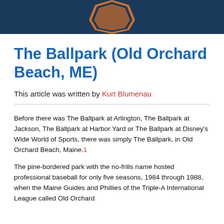[Figure (illustration): Dark navy blue banner header with a partially visible orange and blue hexagonal logo/emblem at the top center]
The Ballpark (Old Orchard Beach, ME)
This article was written by Kurt Blumenau
Before there was The Ballpark at Arlington, The Ballpark at Jackson, The Ballpark at Harbor Yard or The Ballpark at Disney's Wide World of Sports, there was simply The Ballpark, in Old Orchard Beach, Maine.1
The pine-bordered park with the no-frills name hosted professional baseball for only five seasons, 1984 through 1988, when the Maine Guides and Phillies of the Triple-A International League called Old Orchard